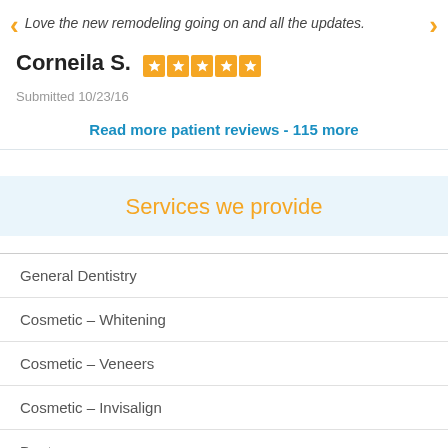Love the new remodeling going on and all the updates.
Corneila S. ★★★★★
Submitted 10/23/16
Read more patient reviews - 115 more
Services we provide
General Dentistry
Cosmetic – Whitening
Cosmetic – Veneers
Cosmetic – Invisalign
Dentures